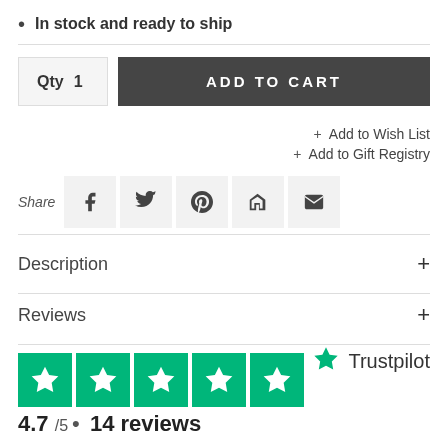In stock and ready to ship
Qty  1  ADD TO CART
+ Add to Wish List
+ Add to Gift Registry
Share
Description +
Reviews +
[Figure (other): Five green Trustpilot star rating boxes]
[Figure (logo): Trustpilot logo with green star]
4.7 /5 • 14 reviews